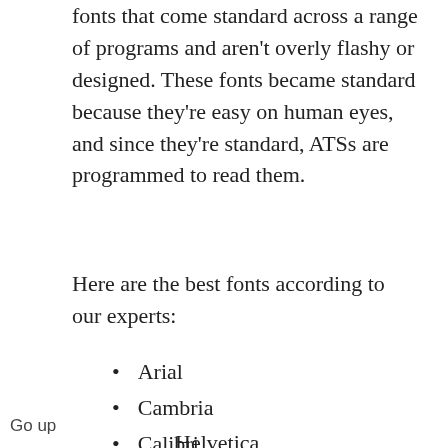fonts that come standard across a range of programs and aren't overly flashy or designed. These fonts became standard because they're easy on human eyes, and since they're standard, ATSs are programmed to read them.
Here are the best fonts according to our experts:
Arial
Cambria
Calibri
Garamond
Georgia
Helvetica